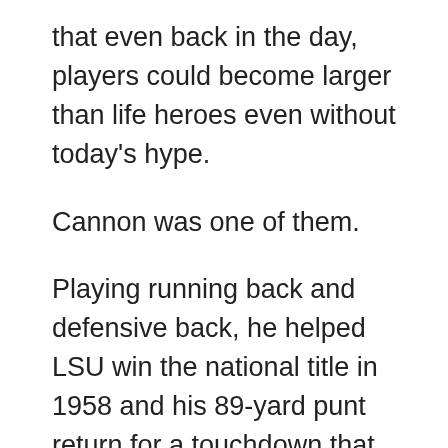that even back in the day, players could become larger than life heroes even without today's hype.
Cannon was one of them.
Playing running back and defensive back, he helped LSU win the national title in 1958 and his 89-yard punt return for a touchdown that helped beat Mississippi, 7-3, in 1959 is still one of the most iconic moments in the history of college football